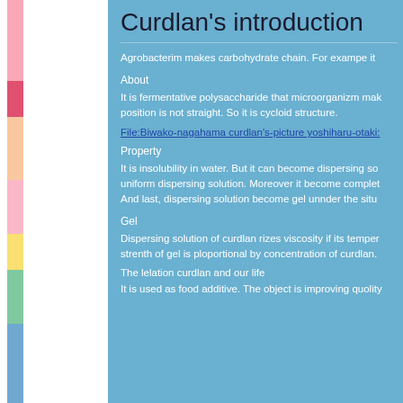Curdlan's introduction
Agrobacterim makes carbohydrate chain. For exampe it
About
It is fermentative polysaccharide that microorganizm mak position is not straight. So it is cycloid structure.
File:Biwako-nagahama curdlan's-picture yoshiharu-otaki:
Property
It is insolubility in water. But it can become dispersing so uniform dispersing solution. Moreover it become complet And last, dispersing solution become gel unnder the situ
Gel
Dispersing solution of curdlan rizes viscosity if its temper strenth of gel is ploportional by concentration of curdlan.
The lelation curdlan and our life
It is used as food additive. The object is improving quolity